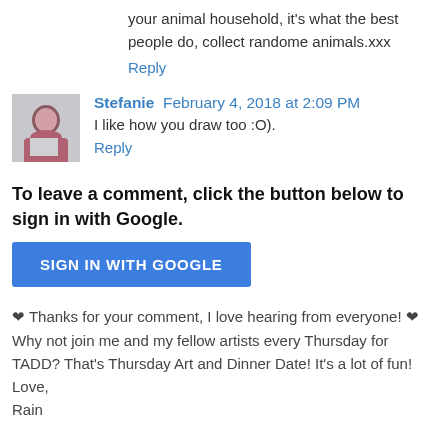your animal household, it's what the best people do, collect randome animals.xxx
Reply
Stefanie  February 4, 2018 at 2:09 PM
I like how you draw too :O).
Reply
To leave a comment, click the button below to sign in with Google.
SIGN IN WITH GOOGLE
❤ Thanks for your comment, I love hearing from everyone! ❤ Why not join me and my fellow artists every Thursday for TADD? That's Thursday Art and Dinner Date! It's a lot of fun!
Love,
Rain